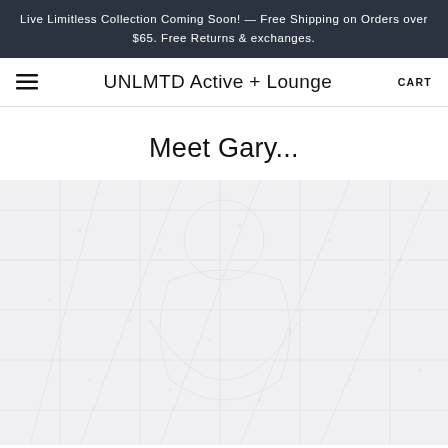Live Limitless Collection Coming Soon! — Free Shipping on Orders over $65. Free Returns & exchanges.
UNLMTD Active + Lounge
CART
Meet Gary...
[Figure (photo): A faded/watermarked background image showing a person or scene, rendered in very light tones against a light grey background, occupying the lower portion of the page.]